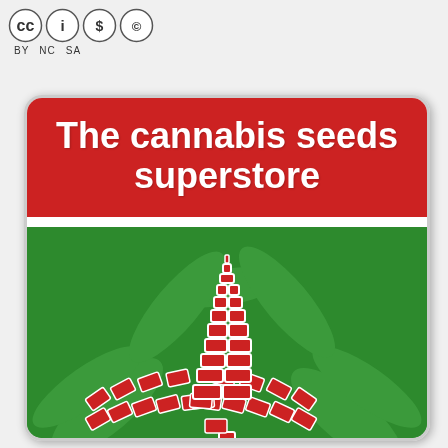[Figure (logo): Creative Commons license badge with CC, BY, NC, SA icons]
[Figure (logo): The cannabis seeds superstore logo card — red header band with white bold text reading 'The cannabis seeds superstore', white stripe separator, green background with cannabis leaf illustration made of red rectangular blocks arranged in a stylized cannabis leaf/maple leaf pattern]